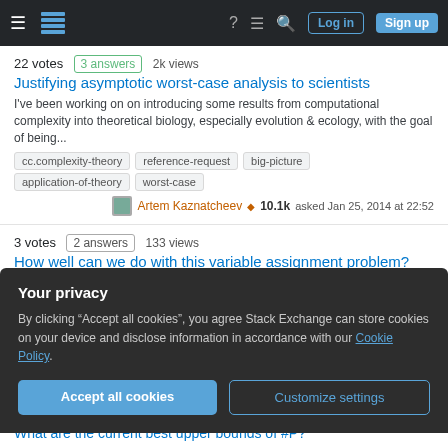Stack Exchange navigation bar with login and sign up buttons
22 votes  3 answers  2k views
Justifying asymptotic worst-case analysis to scientists
I've been working on on introducing some results from computational complexity into theoretical biology, especially evolution & ecology, with the goal of being...
cc.complexity-theory
reference-request
big-picture
application-of-theory
worst-case
Artem Kaznatcheev ♦ 10.1k asked Jan 25, 2014 at 22:52
3 votes  2 answers  133 views
How well can we do with this variable assignment problem?
Given in this problem is a set of values 0 ≤ a_i ≤ n, where 0 ≤ a_i ≤ n and
Your privacy
By clicking "Accept all cookies", you agree Stack Exchange can store cookies on your device and disclose information in accordance with our Cookie Policy.
Accept all cookies  Customize settings
What are the current best upper bounds of #P?